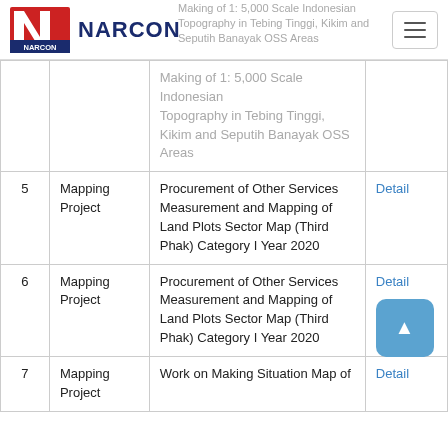NARCON
| # | Type | Description | Action |
| --- | --- | --- | --- |
|  |  | Making of 1: 5,000 Scale Indonesian Topography in Tebing Tinggi, Kikim and Seputih Banayak OSS Areas |  |
| 5 | Mapping Project | Procurement of Other Services Measurement and Mapping of Land Plots Sector Map (Third Phak) Category I Year 2020 | Detail |
| 6 | Mapping Project | Procurement of Other Services Measurement and Mapping of Land Plots Sector Map (Third Phak) Category I Year 2020 | Detail |
| 7 | Mapping Project | Work on Making Situation Map of | Detail |